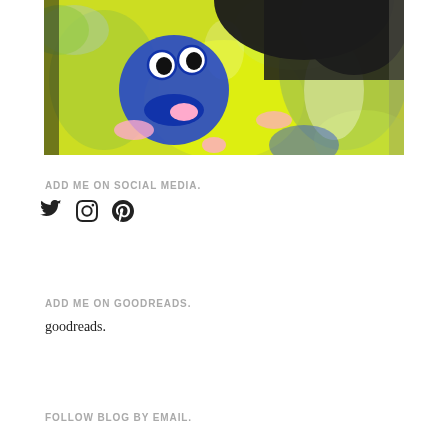[Figure (photo): Person wearing a bright yellow tie-dye t-shirt with Cookie Monster (blue cartoon character) print. Dark hair visible at top. Photo cropped to show torso only.]
ADD ME ON SOCIAL MEDIA.
[Figure (other): Social media icons: Twitter bird, Instagram camera, Pinterest P]
ADD ME ON GOODREADS.
goodreads.
FOLLOW BLOG BY EMAIL.